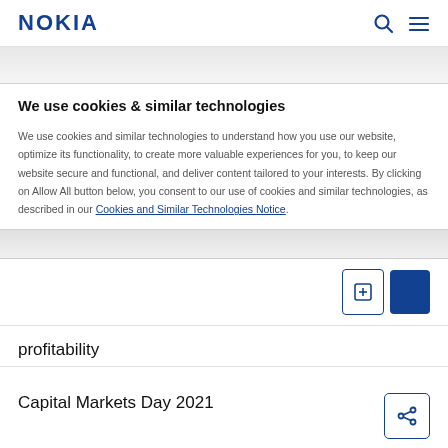NOKIA
We use cookies & similar technologies
We use cookies and similar technologies to understand how you use our website, optimize its functionality, to create more valuable experiences for you, to keep our website secure and functional, and deliver content tailored to your interests. By clicking on Allow All button below, you consent to our use of cookies and similar technologies, as described in our Cookies and Similar Technologies Notice.
profitability
Capital Markets Day 2021